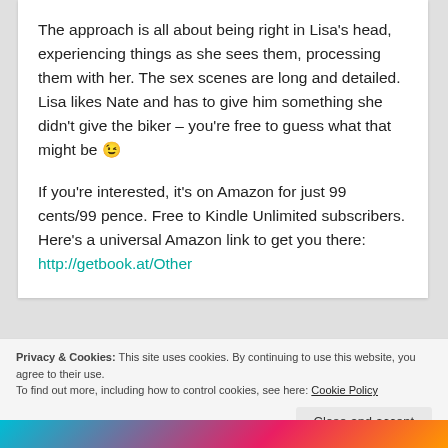The approach is all about being right in Lisa's head, experiencing things as she sees them, processing them with her. The sex scenes are long and detailed. Lisa likes Nate and has to give him something she didn't give the biker – you're free to guess what that might be 😉
If you're interested, it's on Amazon for just 99 cents/99 pence. Free to Kindle Unlimited subscribers. Here's a universal Amazon link to get you there: http://getbook.at/Other
Privacy & Cookies: This site uses cookies. By continuing to use this website, you agree to their use.
To find out more, including how to control cookies, see here: Cookie Policy
Close and accept